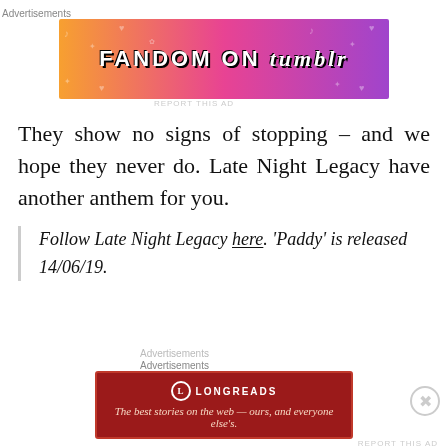[Figure (other): Fandom on Tumblr advertisement banner with colorful gradient background]
They show no signs of stopping – and we hope they never do. Late Night Legacy have another anthem for you.
Follow Late Night Legacy here. 'Paddy' is released 14/06/19.
[Figure (other): Longreads advertisement banner — The best stories on the web — ours, and everyone else's.]